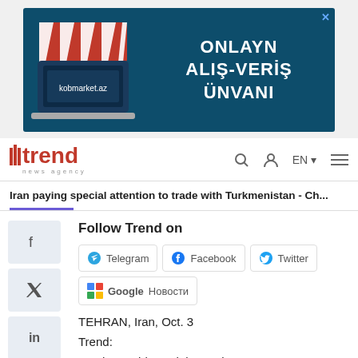[Figure (infographic): Advertisement banner for kobmarket.az showing an online marketplace with storefront graphic and text 'ONLAYN ALIŞ-VERİŞ ÜNVANI']
trend news agency | search | user | EN | menu
Iran paying special attention to trade with Turkmenistan - Ch...
Follow Trend on
TEHRAN, Iran, Oct. 3
Trend:
Iran has paid special attention to new